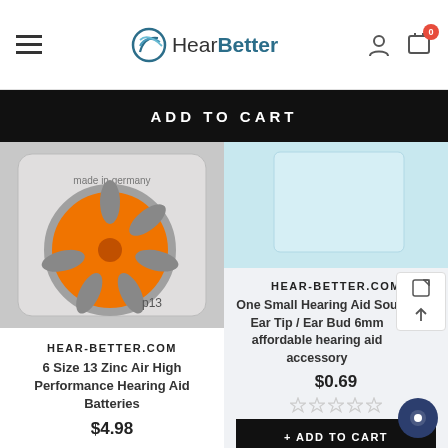HearBetter — navigation header
ADD TO CART
[Figure (photo): Hearing aid battery pack (orange zinc-air battery p13, made in germany)]
HEAR-BETTER.COM
6 Size 13 Zinc Air High Performance Hearing Aid Batteries
$4.98
[Figure (photo): Small hearing aid ear tip / ear bud product image in light blue packaging]
HEAR-BETTER.COM
One Small Hearing Aid Sou Ear Tip / Ear Bud 6mm affordable hearing aid accessory
$0.69